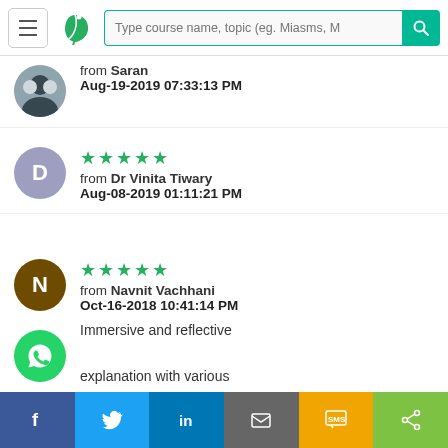[Figure (screenshot): Navigation bar with menu button, leaf logo, search field placeholder 'Type course name, topic (eg. Miasms, M', and teal search button]
from Saran
Aug-19-2019 07:33:13 PM
★★★★★
from Dr Vinita Tiwary
Aug-08-2019 01:11:21 PM
★★★★★
from Navnit Vachhani
Oct-16-2018 10:41:14 PM
Immersive and reflective explanation with various integrated points. Also hahnemannian view in each
[Figure (screenshot): WhatsApp floating action button (green circle with white phone/chat icon)]
[Figure (screenshot): Social share bar at bottom: Facebook (blue), Twitter (light blue), LinkedIn (dark blue), Email (gray), SMS (yellow/orange), Share (green)]